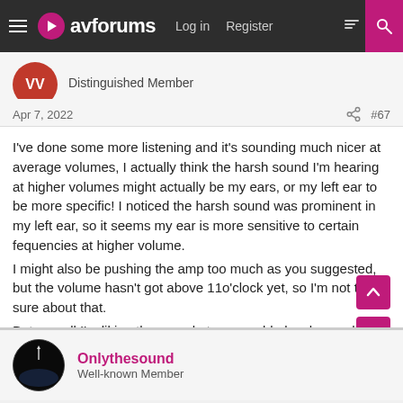avforums — Log in | Register
Distinguished Member
Apr 7, 2022  #67
I've done some more listening and it's sounding much nicer at average volumes, I actually think the harsh sound I'm hearing at higher volumes might actually be my ears, or my left ear to be more specific! I noticed the harsh sound was prominent in my left ear, so it seems my ear is more sensitive to certain fequencies at higher volume.
I might also be pushing the amp too much as you suggested, but the volume hasn't got above 11o'clock yet, so I'm not too sure about that.
But overall I'm liking the sound at reasonable levels, much nicer than the AVR, which is all I was after really.
Onlythesound
Well-known Member